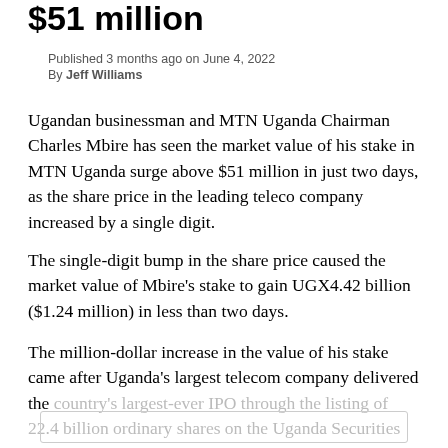$51 million
Published 3 months ago on June 4, 2022
By Jeff Williams
Ugandan businessman and MTN Uganda Chairman Charles Mbire has seen the market value of his stake in MTN Uganda surge above $51 million in just two days, as the share price in the leading teleco company increased by a single digit.
The single-digit bump in the share price caused the market value of Mbire’s stake to gain UGX4.42 billion ($1.24 million) in less than two days.
The million-dollar increase in the value of his stake came after Uganda’s largest telecom company delivered the country’s largest-ever IPO through the listing of 22.4 billion ordinary shares on the Uganda Securities...